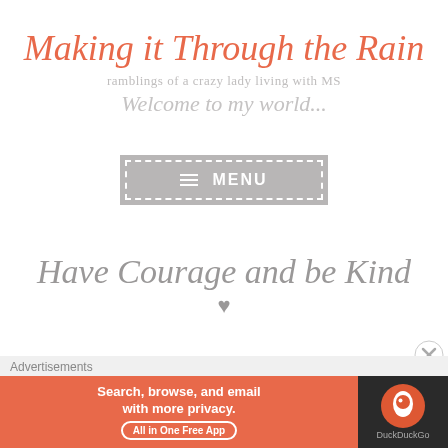Making it Through the Rain
ramblings of a crazy lady living with MS
Welcome to my world...
[Figure (other): Gray MENU button with dashed white border and hamburger icon]
Have Courage and be Kind ♥
Advertisements
[Figure (other): DuckDuckGo advertisement banner: Search, browse, and email with more privacy. All in One Free App. Duck logo on dark background.]